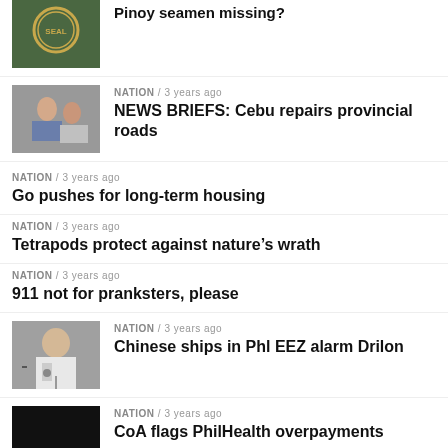Pinoy seamen missing?
NATION / 3 years ago
NEWS BRIEFS: Cebu repairs provincial roads
NATION / 3 years ago
Go pushes for long-term housing
NATION / 3 years ago
Tetrapods protect against nature’s wrath
NATION / 3 years ago
911 not for pranksters, please
NATION / 3 years ago
Chinese ships in Phl EEZ alarm Drilon
NATION / 3 years ago
CoA flags PhilHealth overpayments
MORE POSTS